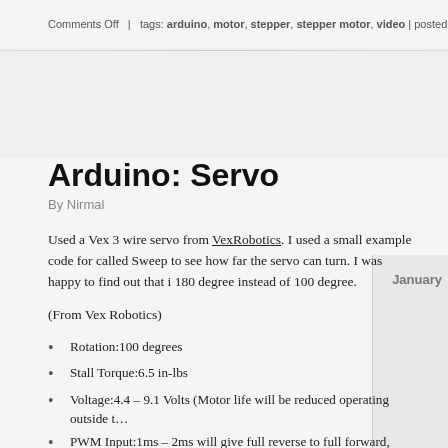Comments Off  |  tags: arduino, motor, stepper, stepper motor, video | posted in Ardu…
Arduino: Servo
By Nirmal
Used a Vex 3 wire servo from VexRobotics. I used a small example code for called Sweep to see how far the servo can turn. I was happy to find out that i 180 degree instead of 100 degree.
(From Vex Robotics)
Rotation:100 degrees
Stall Torque:6.5 in-lbs
Voltage:4.4 – 9.1 Volts (Motor life will be reduced operating outside t…
PWM Input:1ms – 2ms will give full reverse to full forward, 1.5ms is…
Black Wire:Ground